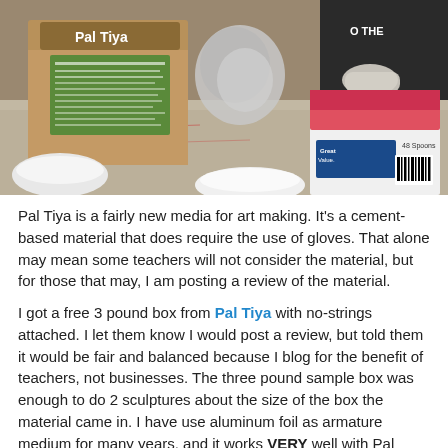[Figure (photo): Photo of a table with a Pal Tiya cardboard box (showing green label), a pink/white box labeled '48 Spoons Great Value', aluminum foil sculptures in progress, a white bowl, and a person wearing a black shirt and latex gloves working on a sculpture.]
Pal Tiya is a fairly new media for art making. It's a cement-based material that does require the use of gloves. That alone may mean some teachers will not consider the material, but for those that may, I am posting a review of the material.
I got a free 3 pound box from Pal Tiya with no-strings attached. I let them know I would post a review, but told them it would be fair and balanced because I blog for the benefit of teachers, not businesses. The three pound sample box was enough to do 2 sculptures about the size of the box the material came in. I have use aluminum foil as armature medium for many years, and it works VERY well with Pal Tiya.